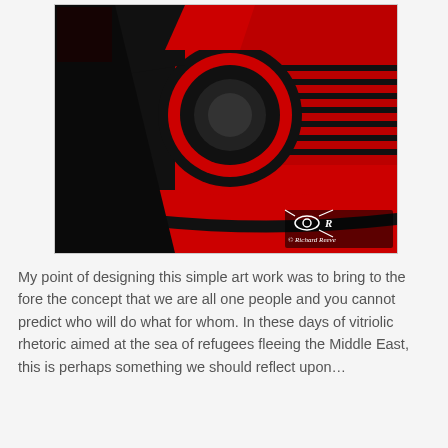[Figure (photo): High-contrast red and black pop-art style photograph of the front of a classic Mini Cooper car, showing the headlight and grille. A watermark logo and text '© Richard Reeve' appears in the lower right corner.]
My point of designing this simple art work was to bring to the fore the concept that we are all one people and you cannot predict who will do what for whom. In these days of vitriolic rhetoric aimed at the sea of refugees fleeing the Middle East, this is perhaps something we should reflect upon…